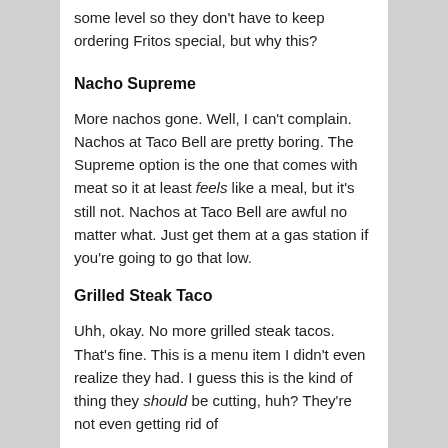some level so they don't have to keep ordering Fritos special, but why this?
Nacho Supreme
More nachos gone. Well, I can't complain. Nachos at Taco Bell are pretty boring. The Supreme option is the one that comes with meat so it at least feels like a meal, but it's still not. Nachos at Taco Bell are awful no matter what. Just get them at a gas station if you're going to go that low.
Grilled Steak Taco
Uhh, okay. No more grilled steak tacos. That's fine. This is a menu item I didn't even realize they had. I guess this is the kind of thing they should be cutting, huh? They're not even getting rid of